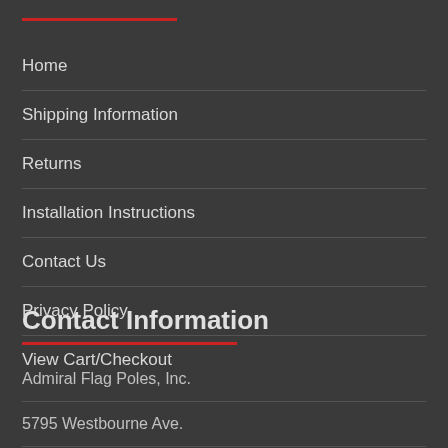Home
Shipping Information
Returns
Installation Instructions
Contact Us
Privacy Policy
View Cart/Checkout
Contact Information
Admiral Flag Poles, Inc.
5795 Westbourne Ave.
Columbus, OH 43213